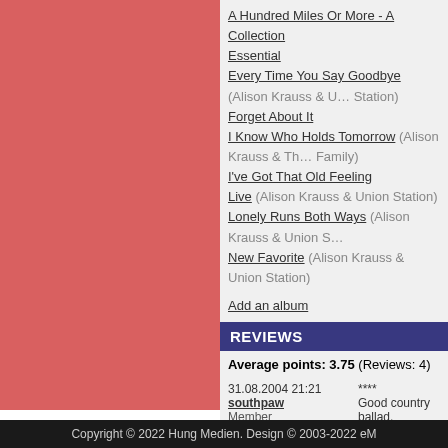A Hundred Miles Or More - A Collection
Essential
Every Time You Say Goodbye (Alison Krauss & Union Station)
Forget About It
I Know Who Holds Tomorrow (Alison Krauss & The Family)
I've Got That Old Feeling
Live (Alison Krauss & Union Station)
Lonely Runs Both Ways (Alison Krauss & Union Station)
New Favorite (Alison Krauss & Union Station)
Add an album
REVIEWS
Average points: 3.75 (Reviews: 4)
| Date/User | Rating/Review |
| --- | --- |
| 31.08.2004 21:21
southpaw
Member | ****
Good country ballad. |
| 31.08.2004 21:50
lipinska
Member | *****
... how could you love m |
| 21.10.2009 11:46
AllSainter
Member | ****
Gut. |
| 18.03.2016 18:22
Patrick7781
Member | **
Minder. |
Add a review
Copyright © 2022 Hung Medien. Design © 2003-2022 eM